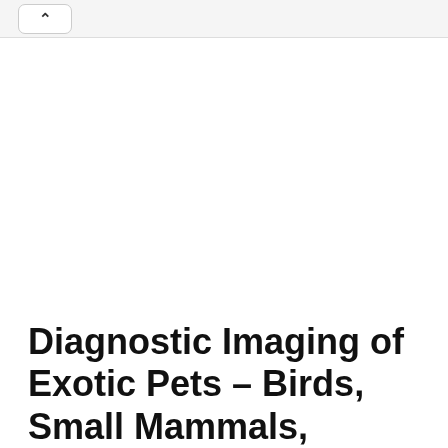^
Diagnostic Imaging of Exotic Pets – Birds, Small Mammals,